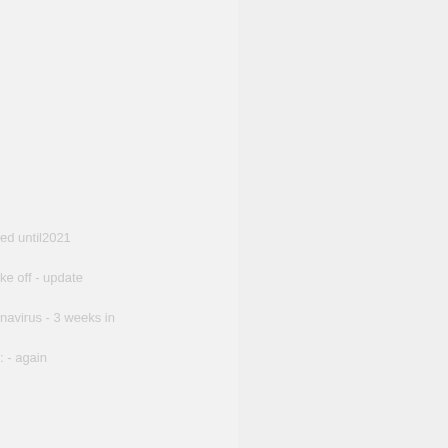ed until2021
ke off - update
navirus - 3 weeks in
: - again